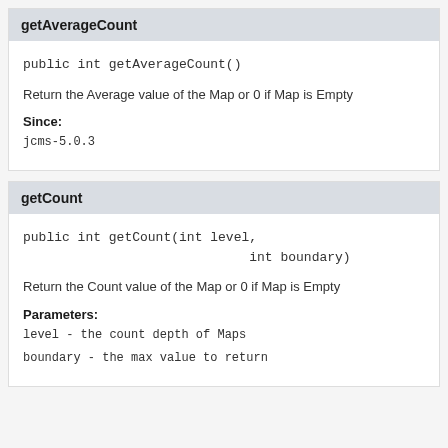getAverageCount
public int getAverageCount()
Return the Average value of the Map or 0 if Map is Empty
Since:
jcms-5.0.3
getCount
public int getCount(int level,
                             int boundary)
Return the Count value of the Map or 0 if Map is Empty
Parameters:
level - the count depth of Maps
boundary - the max value to return